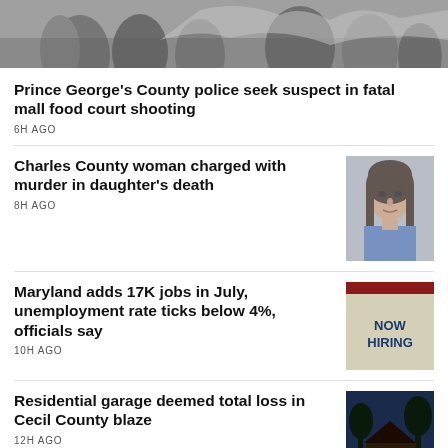[Figure (photo): Black and white scene showing people at what appears to be an outdoor location, partial view]
Prince George's County police seek suspect in fatal mall food court shooting
6H AGO
Charles County woman charged with murder in daughter's death
8H AGO
[Figure (photo): Mugshot of a woman with long brown hair]
Maryland adds 17K jobs in July, unemployment rate ticks below 4%, officials say
10H AGO
[Figure (photo): NOW HIRING sign on a building]
Residential garage deemed total loss in Cecil County blaze
12H AGO
[Figure (photo): Burned structure remains at night with blue sky background]